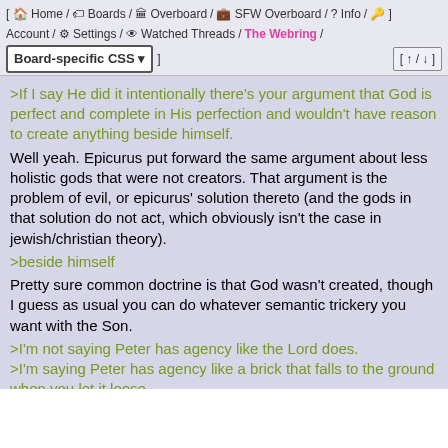[ Home / Boards / Overboard / SFW Overboard / Info / Account / Settings / Watched Threads / The Webring / Board-specific CSS ] [ ↑ / ↓ ]
>If I say He did it intentionally there's your argument that God is perfect and complete in His perfection and wouldn't have reason to create anything beside himself.
Well yeah. Epicurus put forward the same argument about less holistic gods that were not creators. That argument is the problem of evil, or epicurus' solution thereto (and the gods in that solution do not act, which obviously isn't the case in jewish/christian theory).
>beside himself
Pretty sure common doctrine is that God wasn't created, though I guess as usual you can do whatever semantic trickery you want with the Son.
>I'm not saying Peter has agency like the Lord does.
>I'm saying Peter has agency like a brick that falls to the ground when you let it loose.
But I didn't make the brick, or gravity, nor am I responsible for the synchronicity thereof and I certainly don't have meaningful let alone complete knowledge of the system. Peter has agency like a piece of red paper in my memory (N.B. that it is defined as such) has agency over my impression of it having been red. Well, obviously he has a lot less agency than that because I